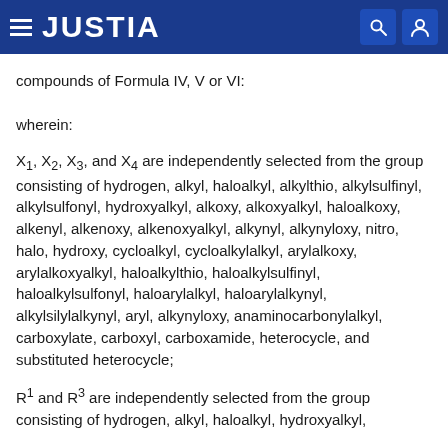JUSTIA
compounds of Formula IV, V or VI:
wherein:
X1, X2, X3, and X4 are independently selected from the group consisting of hydrogen, alkyl, haloalkyl, alkylthio, alkylsulfinyl, alkylsulfonyl, hydroxyalkyl, alkoxy, alkoxyalkyl, haloalkoxy, alkenyl, alkenoxy, alkenoxyalkyl, alkynyl, alkynyloxy, nitro, halo, hydroxy, cycloalkyl, cycloalkylalkyl, arylalkoxy, arylalkoxyalkyl, haloalkylthio, haloalkylsulfinyl, haloalkylsulfonyl, haloarylalkyl, haloarylalkynyl, alkylsilylalkynyl, aryl, alkynyloxy, anaminocarbonylalkyl, carboxylate, carboxyl, carboxamide, heterocycle, and substituted heterocycle;
R1 and R3 are independently selected from the group consisting of hydrogen, alkyl, haloalkyl, hydroxyalkyl,